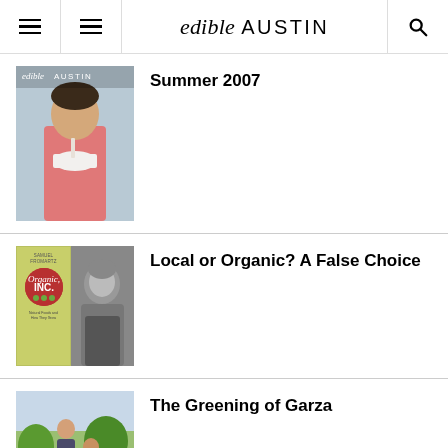edible AUSTIN
Summer 2007
[Figure (photo): Cover of Edible Austin Summer 2007 issue showing a child eating from a bowl]
Local or Organic? A False Choice
[Figure (photo): Thumbnail showing Organic Inc. book cover beside a black and white portrait photo of a man]
The Greening of Garza
[Figure (photo): Thumbnail showing a partial outdoor photo of people in a green setting]